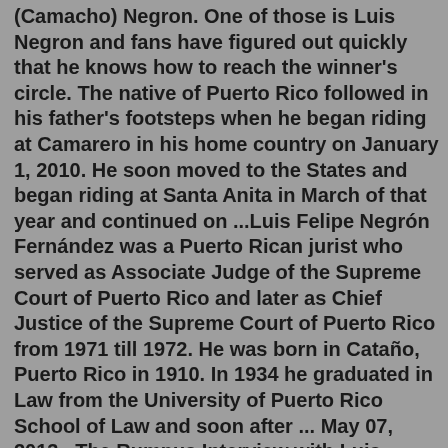(Camacho) Negron. One of those is Luis Negron and fans have figured out quickly that he knows how to reach the winner's circle. The native of Puerto Rico followed in his father's footsteps when he began riding at Camarero in his home country on January 1, 2010. He soon moved to the States and began riding at Santa Anita in March of that year and continued on ...Luis Felipe Negrón Fernández was a Puerto Rican jurist who served as Associate Judge of the Supreme Court of Puerto Rico and later as Chief Justice of the Supreme Court of Puerto Rico from 1971 till 1972. He was born in Cataño, Puerto Rico in 1910. In 1934 he graduated in Law from the University of Puerto Rico School of Law and soon after ... May 07, 2013 · The Rumpus Interview with Luis Negrón. By Abigail Welhouse. May 7th, 2013. I sit at the Bureau of General Services, Queer Division, sipping wine as I wait to hear Puerto Rican writer Luis Negrón and his translator, Suzanne Jill Levine, read from Mundo Cruel. As soon as they begin, the